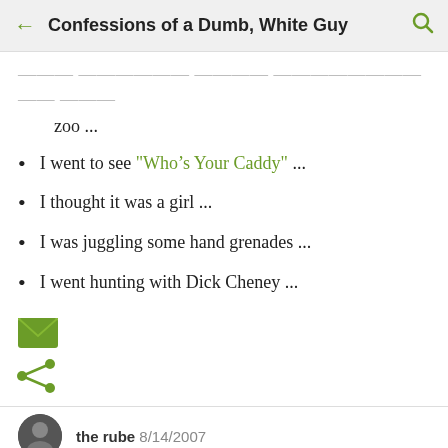Confessions of a Dumb, White Guy
zoo ...
I went to see "Who's Your Caddy" ...
I thought it was a girl ...
I was juggling some hand grenades ...
I went hunting with Dick Cheney ...
[Figure (illustration): Green email envelope icon]
[Figure (illustration): Green share/social icon]
the rube 8/14/2007